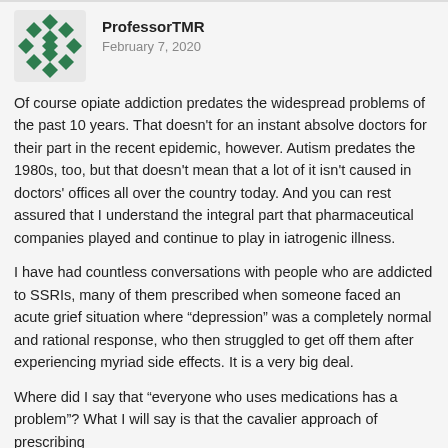[Figure (logo): Green diamond pattern avatar/logo for ProfessorTMR]
ProfessorTMR
February 7, 2020
Of course opiate addiction predates the widespread problems of the past 10 years. That doesn't for an instant absolve doctors for their part in the recent epidemic, however. Autism predates the 1980s, too, but that doesn't mean that a lot of it isn't caused in doctors' offices all over the country today. And you can rest assured that I understand the integral part that pharmaceutical companies played and continue to play in iatrogenic illness.
I have had countless conversations with people who are addicted to SSRIs, many of them prescribed when someone faced an acute grief situation where “depression” was a completely normal and rational response, who then struggled to get off them after experiencing myriad side effects. It is a very big deal.
Where did I say that “everyone who uses medications has a problem”? What I will say is that the cavalier approach of prescribing